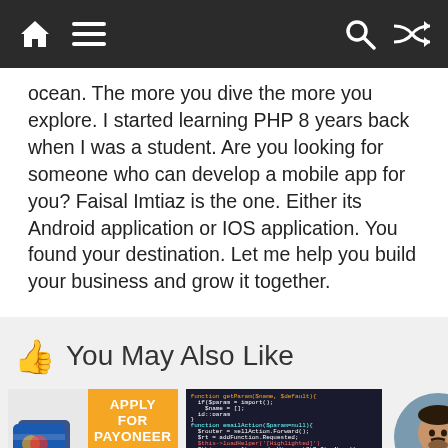Navigation bar with home, menu, search, and shuffle icons
ocean. The more you dive the more you explore. I started learning PHP 8 years back when I was a student. Are you looking for someone who can develop a mobile app for you? Faisal Imtiaz is the one. Either its Android application or IOS application. You found your destination. Let me help you build your business and grow it together.
👍 You May Also Like
[Figure (photo): Thumbnail 1: Credit card image next to an orange banner reading 'APPLY FOR PAYONEER MASTER CARD']
[Figure (screenshot): Thumbnail 2: Screenshot of PHP/programming code on dark background]
[Figure (photo): Thumbnail 3: Circular portrait photo of a person (Faisal Imtiaz)]